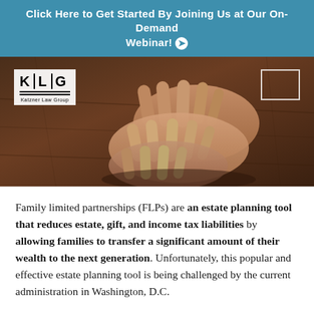Click Here to Get Started By Joining Us at Our On-Demand Webinar! ➔
[Figure (photo): Close-up photo of two pairs of hands clasped together on a wooden table, with a KLG Katzner Law Group logo overlay in the upper left corner and a navigation box in the upper right.]
Family limited partnerships (FLPs) are an estate planning tool that reduces estate, gift, and income tax liabilities by allowing families to transfer a significant amount of their wealth to the next generation. Unfortunately, this popular and effective estate planning tool is being challenged by the current administration in Washington, D.C.